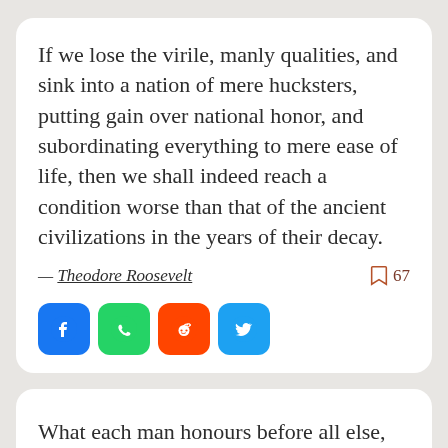If we lose the virile, manly qualities, and sink into a nation of mere hucksters, putting gain over national honor, and subordinating everything to mere ease of life, then we shall indeed reach a condition worse than that of the ancient civilizations in the years of their decay.
— Theodore Roosevelt   67
[Figure (other): Social share buttons: Facebook (blue), WhatsApp (green), Reddit (orange), Twitter (blue)]
What each man honours before all else, what before all things he admires and loves, this